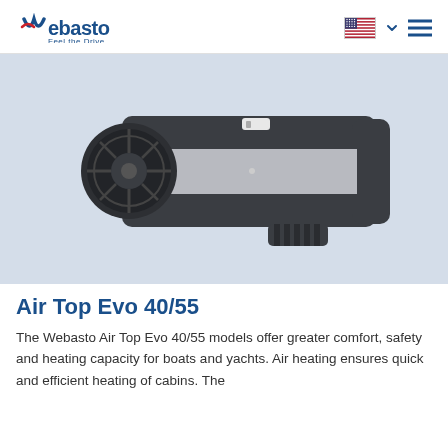Webasto — Feel the Drive
[Figure (photo): Webasto Air Top Evo 40/55 heater unit — a compact rectangular device in dark grey and silver, with a circular fan inlet on the left side and a mounting bracket underneath, shown on a light blue-grey background.]
Air Top Evo 40/55
The Webasto Air Top Evo 40/55 models offer greater comfort, safety and heating capacity for boats and yachts. Air heating ensures quick and efficient heating of cabins. The